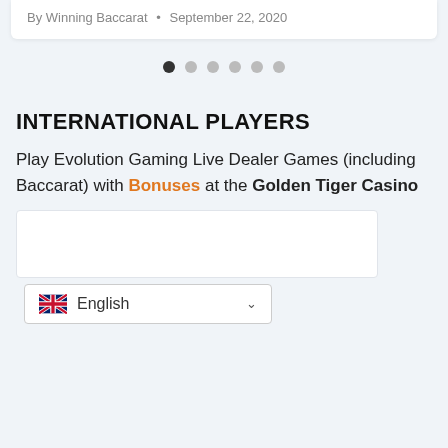By Winning Baccarat • September 22, 2020
[Figure (other): Carousel pagination dots — one dark filled circle followed by five light grey circles]
INTERNATIONAL PLAYERS
Play Evolution Gaming Live Dealer Games (including Baccarat) with Bonuses at the Golden Tiger Casino
[Figure (other): White casino widget/embed box, partially visible]
[Figure (other): Language selector dropdown showing UK flag and 'English' with chevron]